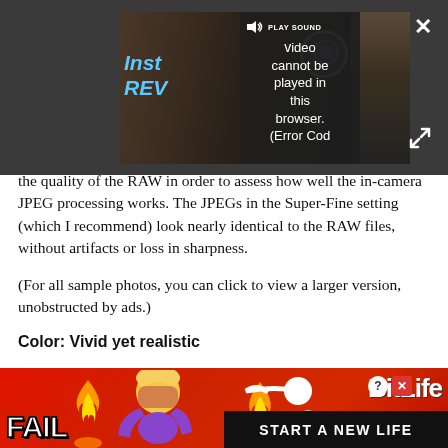[Figure (screenshot): Video player showing error overlay: speaker icon, PLAY SOUND text, and 'Video cannot be played in this browser. (Error Cod' message over a dark background with camera thumbnail]
(...) g the quality of the RAW in order to assess how well the in-camera JPEG processing works. The JPEGs in the Super-Fine setting (which I recommend) look nearly identical to the RAW files, without artifacts or loss in sharpness.
(For all sample photos, you can click to view a larger version, unobstructed by ads.)
Color: Vivid yet realistic
[Figure (screenshot): Advertisement banner for BitLife game with FAIL text, cartoon emoji, flames, sperm logo, and START A NEW LIFE black banner]